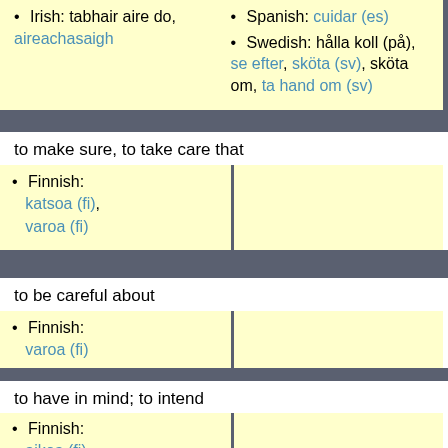Irish: tabhair aire do, aireachasaigh
Spanish: cuidar (es)
Swedish: hålla koll (på), se efter, sköta (sv), sköta om, ta hand om (sv)
to make sure, to take care that
Finnish: katsoa (fi), varoa (fi)
to be careful about
Finnish: varoa (fi)
to have in mind; to intend
Finnish: aikoa (fi)